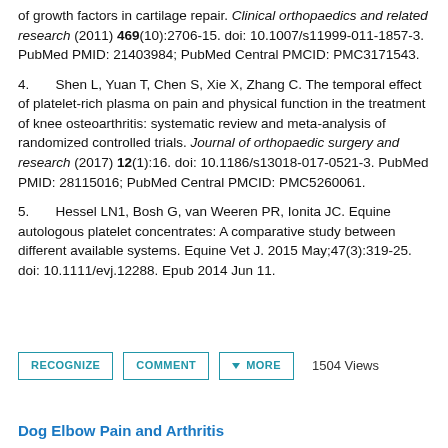of growth factors in cartilage repair. Clinical orthopaedics and related research (2011) 469(10):2706-15. doi: 10.1007/s11999-011-1857-3. PubMed PMID: 21403984; PubMed Central PMCID: PMC3171543.
4. Shen L, Yuan T, Chen S, Xie X, Zhang C. The temporal effect of platelet-rich plasma on pain and physical function in the treatment of knee osteoarthritis: systematic review and meta-analysis of randomized controlled trials. Journal of orthopaedic surgery and research (2017) 12(1):16. doi: 10.1186/s13018-017-0521-3. PubMed PMID: 28115016; PubMed Central PMCID: PMC5260061.
5. Hessel LN1, Bosh G, van Weeren PR, Ionita JC. Equine autologous platelet concentrates: A comparative study between different available systems. Equine Vet J. 2015 May;47(3):319-25. doi: 10.1111/evj.12288. Epub 2014 Jun 11.
RECOGNIZE   COMMENT   MORE   1504 Views
Dog Elbow Pain and Arthritis